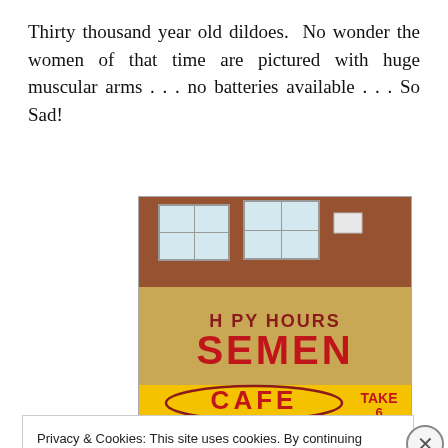Thirty thousand year old dildoes.  No wonder the women of that time are pictured with huge muscular arms . . . no batteries available . . . So Sad!
[Figure (photo): Photo of a building facade with a yellow sign reading 'H PY HOURS SEMEN CAFE TAKE' in large red letters, with brick wall and windows visible above.]
Privacy & Cookies: This site uses cookies. By continuing to use this website, you agree to their use.
To find out more, including how to control cookies, see here: Cookie Policy
Close and accept